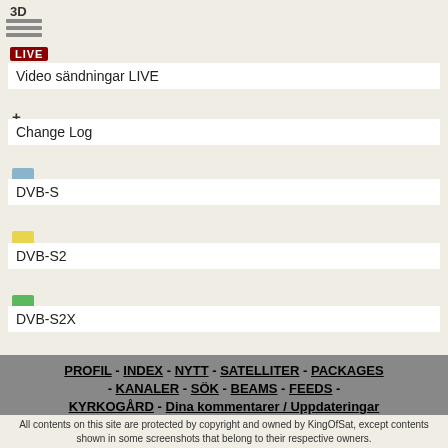3D
[Figure (other): Hamburger menu icon (three horizontal lines)]
[Figure (other): LIVE badge (red rectangle with white LIVE text)]
Video sändningar LIVE
+
Change Log
[Figure (other): Blue square color indicator for DVB-S]
DVB-S
[Figure (other): Yellow square color indicator for DVB-S2]
DVB-S2
[Figure (other): Green square color indicator for DVB-S2X]
DVB-S2X
PROFIL - INDEX - NYTT - SATELLITER - PACKAGES - KANALER - SÖK - BEAMS - FEEDS - KYRKOGÅRD - Dina kommentarer / Uppdateringar
All contents on this site are protected by copyright and owned by KingOfSat, except contents shown in some screenshots that belong to their respective owners.